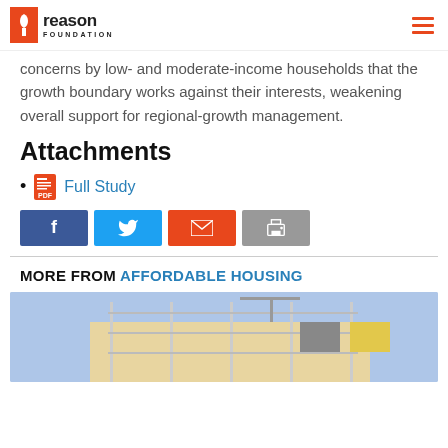Reason Foundation
concerns by low- and moderate-income households that the growth boundary works against their interests, weakening overall support for regional-growth management.
Attachments
Full Study
[Figure (other): Social sharing buttons: Facebook, Twitter, Email, Print]
MORE FROM AFFORDABLE HOUSING
[Figure (photo): Construction photo showing scaffolding on a building with blue sky background]